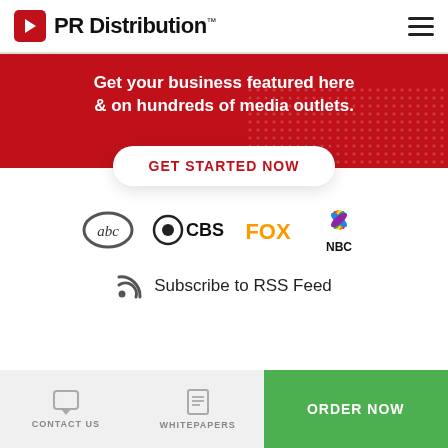PR Distribution™
[Figure (infographic): Red banner with white text: Get your business featured here & on hundreds of media outlets.]
GET STARTED NOW
[Figure (logo): Media outlet logos: abc, CBS, FOX, NBC]
Subscribe to RSS Feed
CONTACT US    WHITEPAPERS    ORDER NOW